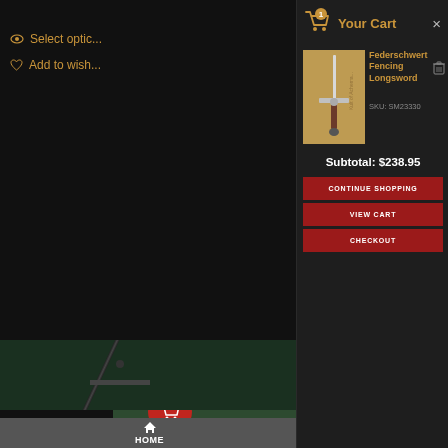[Figure (screenshot): Left background panel showing a dark e-commerce page with fencing sword image, navigation options 'Select options' and 'Add to wishlist', a shopping cart badge with number 1, and HOME navigation button at bottom]
Your Cart
[Figure (photo): Product photo of a Federschwert Fencing Longsword on tan/cork background]
Federschwert Fencing Longsword
SKU: SM23330
Subtotal: $238.95
CONTINUE SHOPPING
VIEW CART
CHECKOUT